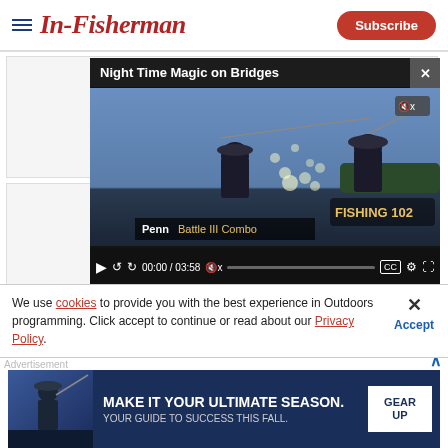In-Fisherman | Subscribe
Pecan-Crusted Catfish Fillets Recipe
Emilie Bailey
[Figure (screenshot): Video player overlay showing 'Night Time Magic on Bridges' video with two silhouetted fishermen on a boat at dusk. Controls show 00:00 / 03:58. Penn Battle III Combo advertisement overlay.]
We use cookies to provide you with the best experience in Outdoors programming. Click accept to continue or read about our Privacy Policy.
Advertisement
[Figure (screenshot): Advertisement banner: 'Make it your ultimate season. Your guide to success this fall.' with 'Gear Up' call-to-action button on dark blue background with fisherman imagery.]